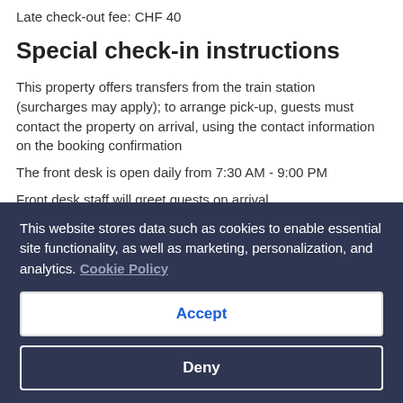Late check-out fee: CHF 40
Special check-in instructions
This property offers transfers from the train station (surcharges may apply); to arrange pick-up, guests must contact the property on arrival, using the contact information on the booking confirmation
The front desk is open daily from 7:30 AM - 9:00 PM
Front desk staff will greet guests on arrival
For more details, please contact the property using the information on the booking confirmation
Zermatt is in a car-free zone and can be reached only by train.
This website stores data such as cookies to enable essential site functionality, as well as marketing, personalization, and analytics. Cookie Policy
Accept
Deny